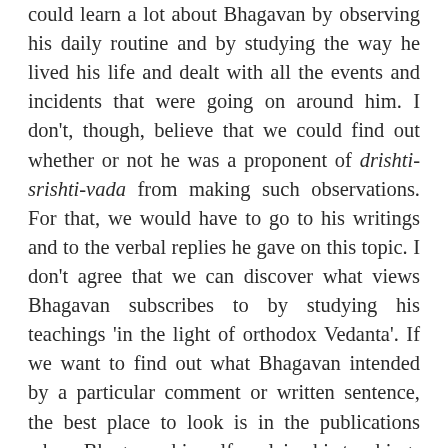could learn a lot about Bhagavan by observing his daily routine and by studying the way he lived his life and dealt with all the events and incidents that were going on around him. I don't, though, believe that we could find out whether or not he was a proponent of drishti-srishti-vada from making such observations. For that, we would have to go to his writings and to the verbal replies he gave on this topic. I don't agree that we can discover what views Bhagavan subscribes to by studying his teachings 'in the light of orthodox Vedanta'. If we want to find out what Bhagavan intended by a particular comment or written sentence, the best place to look is in the publications where Bhagavan himself explains his teachings in more detail.
If there are no direct comments or writings from